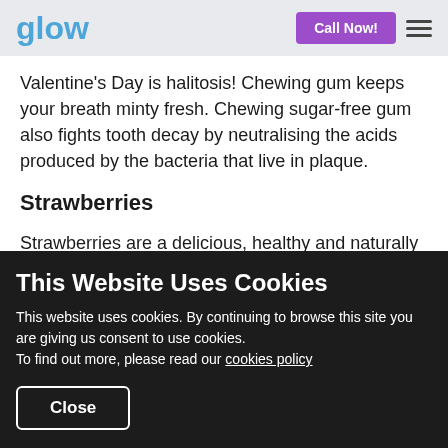glow | Call Now!
Valentine's Day is halitosis! Chewing gum keeps your breath minty fresh. Chewing sugar-free gum also fights tooth decay by neutralising the acids produced by the bacteria that live in plaque.
Strawberries
Strawberries are a delicious, healthy and naturally
This Website Uses Cookies
This website uses cookies. By continuing to browse this site you are giving us consent to use cookies.
To find out more, please read our cookies policy
Close